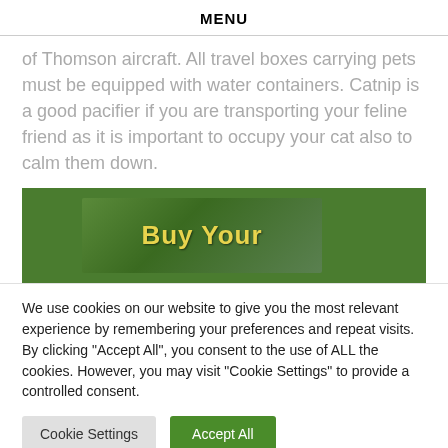MENU
of Thomson aircraft. All travel boxes carrying pets must be equipped with water containers. Catnip is a good pacifier if you are transporting your feline friend as it is important to occupy your cat also to calm them down.
[Figure (illustration): Green banner image with text 'Buy Your' in yellow stylized font over a green photographic background]
We use cookies on our website to give you the most relevant experience by remembering your preferences and repeat visits. By clicking "Accept All", you consent to the use of ALL the cookies. However, you may visit "Cookie Settings" to provide a controlled consent.
Cookie Settings | Accept All